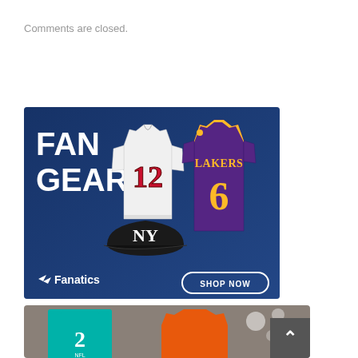Comments are closed.
[Figure (illustration): Fanatics fan gear advertisement with FAN GEAR text, NFL jersey #12, Lakers jersey #6, NY Yankees cap, Fanatics logo and SHOP NOW button on dark blue background]
[Figure (photo): Second sports merchandise advertisement showing teal NFL jersey and orange shirt with stadium lighting background]